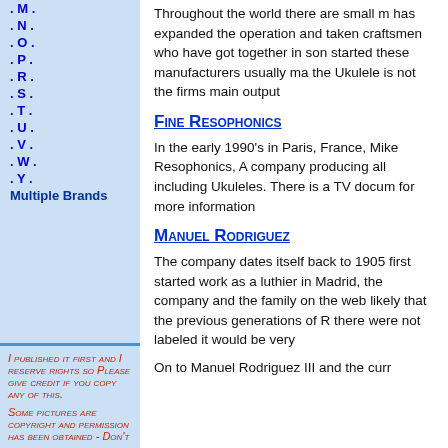. M .
. N .
. O .
. P .
. R .
. S .
. T .
. U .
. V .
. W .
. Y .
Multiple Brands
I PUBLISHED IT FIRST AND I RESERVE RIGHTS SO PLEASE GIVE CREDIT IF YOU COPY ANY OF THIS.
SOME PICTURES ARE COPYRIGHT AND PERMISSION HAS BEEN OBTAINED - DON'T
Throughout the world there are small m has expanded the operation and taken craftsmen who have got together in son started these manufacturers usually ma the Ukulele is not the firms main output
Fine Resophonics
In the early 1990's in Paris, France, Mike Resophonics, A company producing all including Ukuleles. There is a TV docum for more information
Manuel Rodriguez
The company dates itself back to 1905 first started work as a luthier in Madrid, the company and the family on the web likely that the previous generations of R there were not labeled it would be very
On to Manuel Rodriguez III and the curr